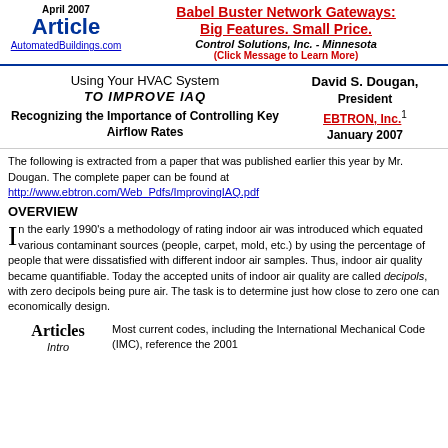April 2007 Article | AutomatedBuildings.com | Babel Buster Network Gateways: Big Features. Small Price. | Control Solutions, Inc. - Minnesota | (Click Message to Learn More)
Using Your HVAC System TO IMPROVE IAQ
Recognizing the Importance of Controlling Key Airflow Rates
David S. Dougan, President EBTRON, Inc.1 January 2007
The following is extracted from a paper that was published earlier this year by Mr. Dougan. The complete paper can be found at http://www.ebtron.com/Web_Pdfs/ImprovingIAQ.pdf
OVERVIEW
In the early 1990's a methodology of rating indoor air was introduced which equated various contaminant sources (people, carpet, mold, etc.) by using the percentage of people that were dissatisfied with different indoor air samples. Thus, indoor air quality became quantifiable. Today the accepted units of indoor air quality are called decipols, with zero decipols being pure air. The task is to determine just how close to zero one can economically design.
Most current codes, including the International Mechanical Code (IMC), reference the 2001